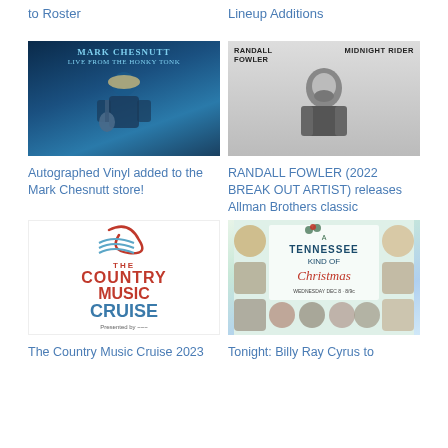to Roster
Lineup Additions
[Figure (photo): Mark Chesnutt Live From The Honky Tonk album cover — blue-toned image of a guitarist in a white cowboy hat]
[Figure (photo): Randall Fowler Midnight Rider album cover — black and white portrait of bearded man in denim jacket]
Autographed Vinyl added to the Mark Chesnutt store!
RANDALL FOWLER (2022 BREAK OUT ARTIST) releases Allman Brothers classic
[Figure (logo): The Country Music Cruise logo — red rope design above blue wavy lines, with red and blue text]
[Figure (photo): A Tennessee Kind of Christmas promotional image — holiday themed collage with multiple country music artists]
The Country Music Cruise 2023
Tonight: Billy Ray Cyrus to